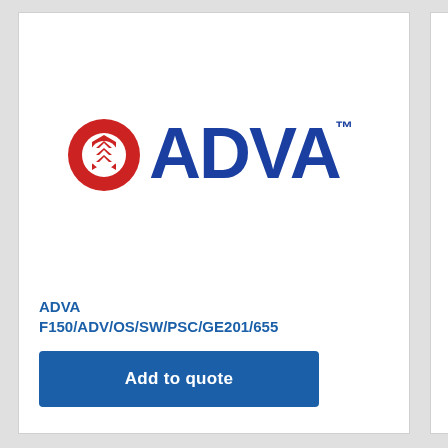[Figure (logo): ADVA logo with red circular icon and blue ADVA text with trademark symbol]
ADVA
F150/ADV/OS/SW/PSC/GE201/655
Add to quote
[Figure (logo): ADVA logo partial, red circular icon and partial blue A letter visible]
ADVA
F150/ADV...
Add to